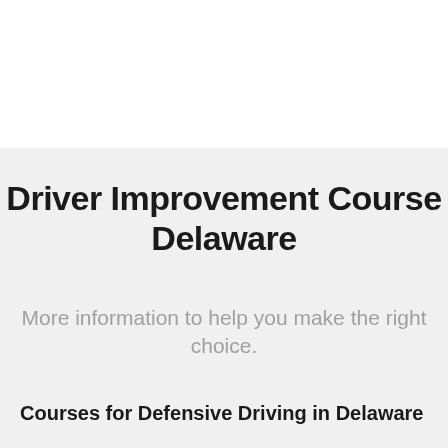Driver Improvement Course Delaware
More information to help you make the right choice.
Courses for Defensive Driving in Delaware